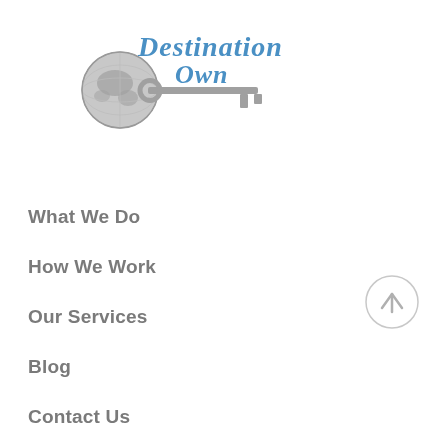[Figure (logo): Destination Own logo: stylized cursive blue text 'Destination Own' with a globe and skeleton key graphic in grey]
What We Do
How We Work
Our Services
Blog
Contact Us
[Figure (other): Circular scroll-to-top button with an upward arrow, light grey outline]